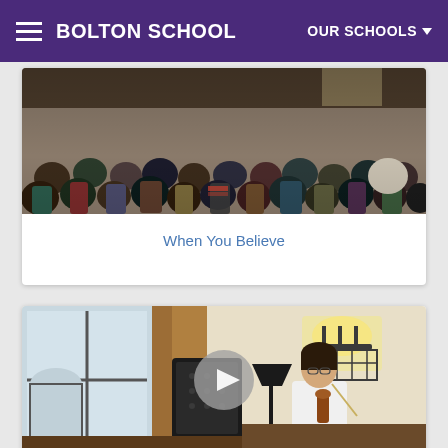BOLTON SCHOOL | OUR SCHOOLS
[Figure (photo): Audience seated in a hall, viewed from behind, many people attending a school event]
When You Believe
[Figure (photo): Student playing violin on a stage with a music stand and speaker, play button overlay visible]